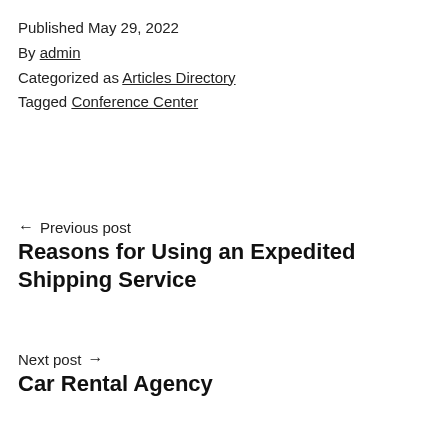Published May 29, 2022
By admin
Categorized as Articles Directory
Tagged Conference Center
← Previous post
Reasons for Using an Expedited Shipping Service
Next post →
Car Rental Agency